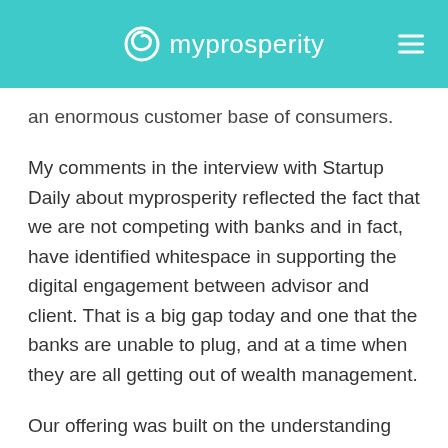myprosperity
an enormous customer base of consumers.
My comments in the interview with Startup Daily about myprosperity reflected the fact that we are not competing with banks and in fact, have identified whitespace in supporting the digital engagement between advisor and client. That is a big gap today and one that the banks are unable to plug, and at a time when they are all getting out of wealth management.
Our offering was built on the understanding that consumers will not only use multiple banks, but their investments, superannuation, insurance and many other financial products will need to be accessible